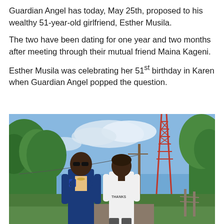Guardian Angel has today, May 25th, proposed to his wealthy 51-year-old girlfriend, Esther Musila.
The two have been dating for one year and two months after meeting through their mutual friend Maina Kageni.
Esther Musila was celebrating her 51st birthday in Karen when Guardian Angel popped the question.
[Figure (photo): A man in a blue suit with sunglasses and a woman in a white t-shirt walking together outdoors with green trees and a tall red metal tower in the background under a blue sky.]